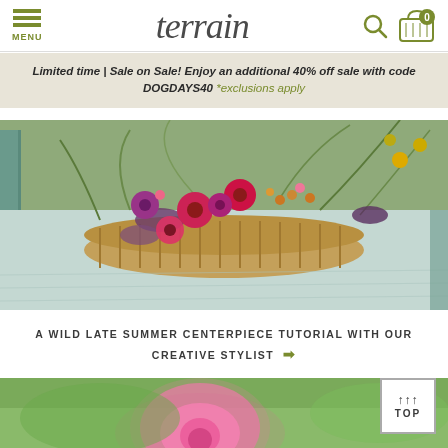MENU | terrain | Search | Cart 0
Limited time | Sale on Sale! Enjoy an additional 40% off sale with code DOGDAYS40 *exclusions apply
[Figure (photo): Wild late summer floral centerpiece arrangement in a woven basket on a light blue table, featuring purple coneflowers, red dahlias, yellow wildflowers, and trailing grasses]
A WILD LATE SUMMER CENTERPIECE TUTORIAL WITH OUR CREATIVE STYLIST →
[Figure (photo): Pink coneflower bloom in soft focus against a green meadow background]